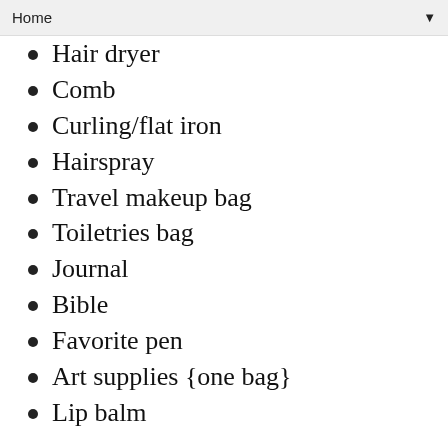Home
Hair dryer
Comb
Curling/flat iron
Hairspray
Travel makeup bag
Toiletries bag
Journal
Bible
Favorite pen
Art supplies {one bag}
Lip balm